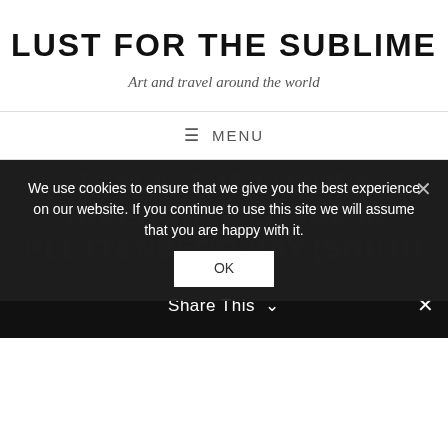LUST FOR THE SUBLIME
Art and travel around the world
≡ MENU
TSALA: THE LUXURY TREEHOUSE LODGE IN PLETTENBERG BAY (SOUTH AFRICA)
We use cookies to ensure that we give you the best experience on our website. If you continue to use this site we will assume that you are happy with it.
OK
Share This ∨